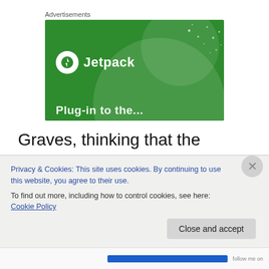Advertisements
[Figure (illustration): Jetpack advertisement banner with green background, white Jetpack logo (circle with lightning bolt) and brand name, decorative circles and dots, partially visible promotional text at bottom.]
Graves, thinking that the heartbeats would be regular, was taken aback at the percussive patterns he heard. He eventually developed a software to translate the patterns
Privacy & Cookies: This site uses cookies. By continuing to use this website, you agree to their use.
To find out more, including how to control cookies, see here: Cookie Policy
Close and accept